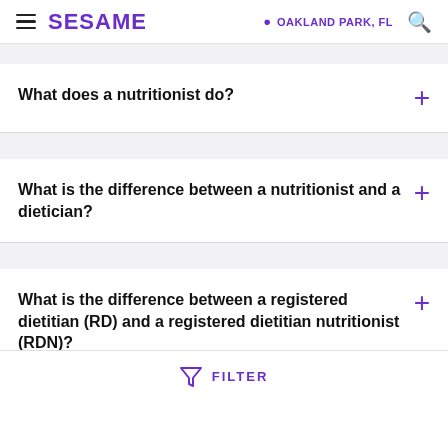SESAME | OAKLAND PARK, FL
What does a nutritionist do?
What is the difference between a nutritionist and a dietician?
What is the difference between a registered dietitian (RD) and a registered dietitian nutritionist (RDN)?
FILTER